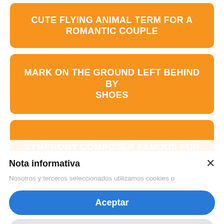CUTE FLYING ANIMAL TERM FOR A ROMANTIC COUPLE
MARK ON THE GROUND LEFT BEHIND BY SHOES
SYMPHONY COMPOSER FAMOUS FOR GOING DEAF
DARTH VADER CHOPS OFF LUKE'S ___ IN
Nota informativa
Nosotros y terceros seleccionados utilizamos cookies o
Aceptar
Saber más y personalizar